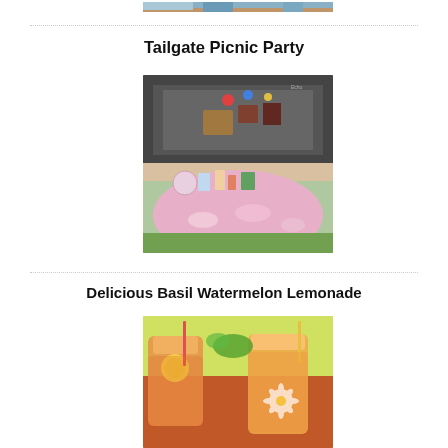[Figure (photo): Partial top image strip showing a tailgate or outdoor scene]
Tailgate Picnic Party
[Figure (photo): A car trunk open with picnic supplies, a pink floral tablecloth draped over, food and drinks arranged, colorful decorations hanging, green grass in background]
Delicious Basil Watermelon Lemonade
[Figure (photo): Close-up of mason jars with pink/orange lemonade drinks, daisy straw decorations, colorful background]